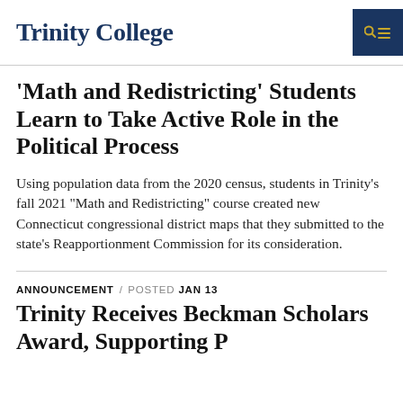Trinity College
'Math and Redistricting' Students Learn to Take Active Role in the Political Process
Using population data from the 2020 census, students in Trinity’s fall 2021 “Math and Redistricting” course created new Connecticut congressional district maps that they submitted to the state’s Reapportionment Commission for its consideration.
ANNOUNCEMENT / POSTED JAN 13
Trinity Receives Beckman Scholars Award, Supporting Paramount...